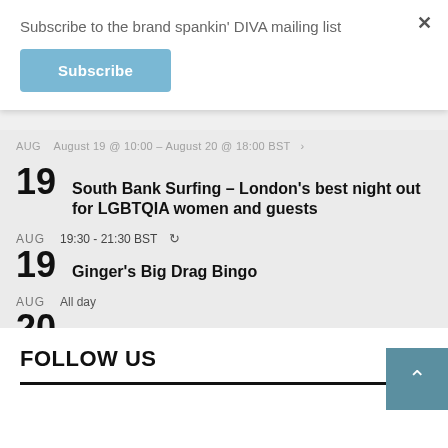Subscribe to the brand spankin' DIVA mailing list
Subscribe
August 19 @ 10:00 - August 20 @ 18:00 BST
19
South Bank Surfing – London's best night out for LGBTQIA women and guests
AUG
19:30 - 21:30 BST
19
Ginger's Big Drag Bingo
AUG
All day
20
Jess Gardham Gig
View Calendar
FOLLOW US